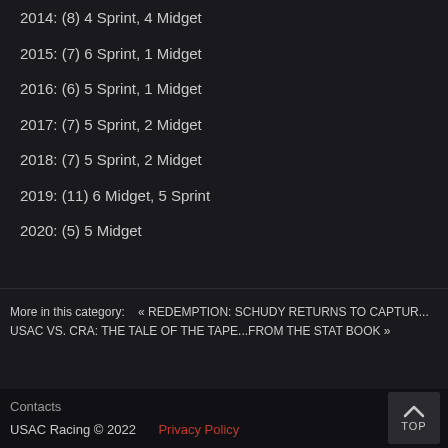2014: (8) 4 Sprint, 4 Midget
2015: (7) 6 Sprint, 1 Midget
2016: (6) 5 Sprint, 1 Midget
2017: (7) 5 Sprint, 2 Midget
2018: (7) 5 Sprint, 2 Midget
2019: (11) 6 Midget, 5 Sprint
2020: (5) 5 Midget
More in this category:    « REDEMPTION: SCHUDY RETURNS TO CAPTURE... USAC VS. CRA: THE TALE OF THE TAPE...FROM THE STAT BOOK »
Contacts
USAC Racing © 2022    Privacy Policy